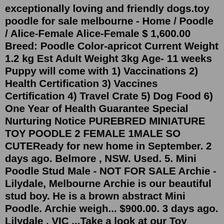exceptionally loving and friendly dogs.toy poodle for sale melbourne - Home / Poodle / Alice-Female Alice-Female $ 1,600.00 Breed: Poodle Color-apricot Current Weight 1.2 kg Est Adult Weight 3kg Age- 11 weeks Puppy will come with 1) Vaccinations 2) Health Certification 3) Vaccines Certification 4) Travel Crate 5) Dog Food 6) One Year of Health Guarantee Special Nurturing Notice PUREBRED MINIATURE TOY POODLE 2 FEMALE 1MALE SO CUTEReady for new home in September. 2 days ago. Belmore , NSW. Used. 5. Mini Poodle Stud Male - NOT FOR SALE Archie - Lilydale, Melbourne Archie is our beautiful stud boy. He is a brown abstract Mini Poodle. Archie weigh... $900.00. 3 days ago. Lilydale , VIC ...Take a look at our Toy Poodle puppies for sale below! Toy poodles are less than 10 inches tall and weigh 4-6 pounds – perfect for small houses or apartments! They are intelligent, easy to house train, and loving – it's even said that poodles can read their owner's emotions! Many people think of the elaborate, pom-pom like haircut ... A tiny toy poodle will generally